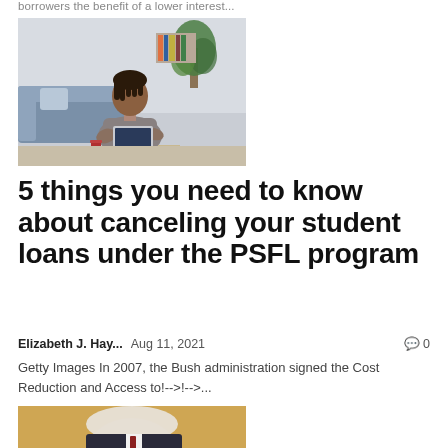borrowers the benefit of a lower interest...
[Figure (photo): Woman sitting at home on a couch looking at a laptop, with books and a red cup on a table, plant in background]
5 things you need to know about canceling your student loans under the PSFL program
Elizabeth J. Hay...   Aug 11, 2021   💬 0
Getty Images In 2007, the Bush administration signed the Cost Reduction and Access to!-->!-->...
[Figure (photo): Close-up photo of an elderly man, partially visible at bottom of page]